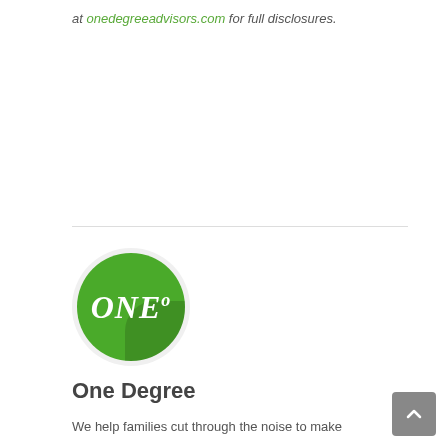at onedegreeadvisors.com for full disclosures.
[Figure (logo): One Degree Advisors circular green logo with white italic text reading ONE° on a green background with subtle shadow]
One Degree
We help families cut through the noise to make